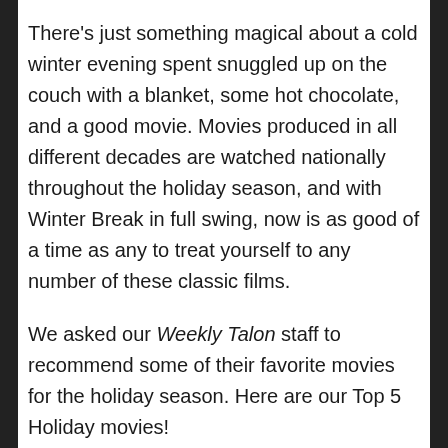There's just something magical about a cold winter evening spent snuggled up on the couch with a blanket, some hot chocolate, and a good movie. Movies produced in all different decades are watched nationally throughout the holiday season, and with Winter Break in full swing, now is as good of a time as any to treat yourself to any number of these classic films.
We asked our Weekly Talon staff to recommend some of their favorite movies for the holiday season. Here are our Top 5 Holiday movies!
#1 Home Alone